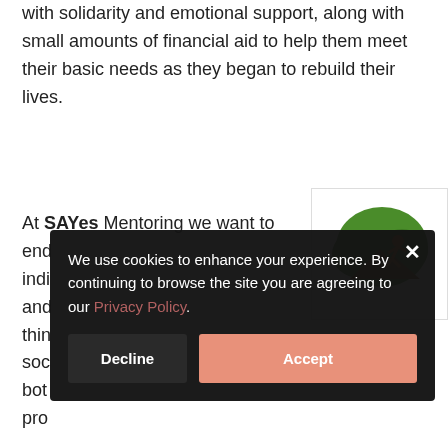with solidarity and emotional support, along with small amounts of financial aid to help them meet their basic needs as they began to rebuild their lives.
At SAYes Mentoring we want to end ... individuals ... and ... think ... social ... both ... pro...
[Figure (logo): SAYes Mentoring logo — green tree with orange figure leaping]
We use cookies to enhance your experience. By continuing to browse the site you are agreeing to our Privacy Policy.